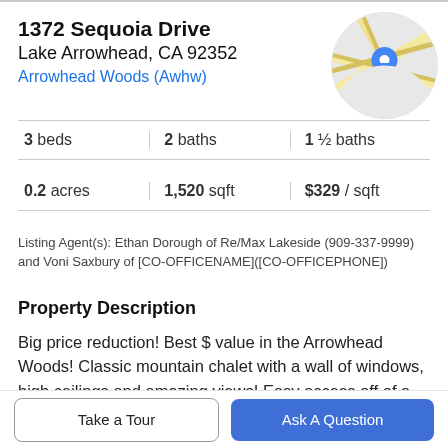1372 Sequoia Drive
Lake Arrowhead, CA 92352
Arrowhead Woods (Awhw)
[Figure (map): Circular map thumbnail showing street map with a blue location pin marker]
3 beds   2 baths   1 ½ baths
0.2 acres   1,520 sqft   $329 / sqft
Listing Agent(s): Ethan Dorough of Re/Max Lakeside (909-337-9999) and Voni Saxbury of [CO-OFFICENAME]([CO-OFFICEPHONE])
Property Description
Big price reduction! Best $ value in the Arrowhead Woods! Classic mountain chalet with a wall of windows, high ceilings and amazing views! Easy access off of a paved
Take a Tour
Ask A Question